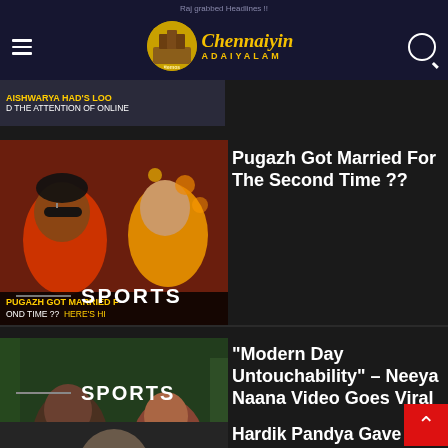Raj grabbed Headlines !! — Chennaiyin Adaiyalam
[Figure (screenshot): Thumbnail image for Pugazh marriage story with text overlay: PUGAZH GOT MARRIED F OND TIME?? HERE'S HI]
Pugazh Got Married For The Second Time ??
[Figure (screenshot): Thumbnail image for Modern Day Untouchability Neeya Naana video with text overlay: WILL TREAT US A LIKE A VANTS ABOUT MODERN DAY UNTOUC]
“Modern Day Untouchability” – Neeya Naana Video Goes Viral
SPORTS
[Figure (screenshot): Thumbnail image of Hardik Pandya for sports article]
Hardik Pandya Gave Credits To Dhoni In front Of Gambhir !! Fans Can’t Keep Calm